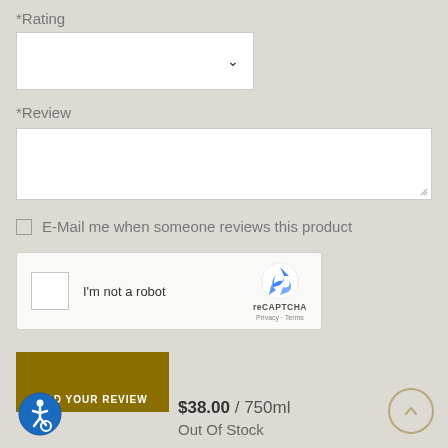*Rating
[Figure (screenshot): Dropdown select box for rating with a chevron arrow]
*Review
[Figure (screenshot): Textarea input for review text]
E-Mail me when someone reviews this product
[Figure (screenshot): reCAPTCHA widget with checkbox, 'I'm not a robot' label and reCAPTCHA logo]
[Figure (screenshot): ADD YOUR REVIEW button in dark gold color]
[Figure (logo): Accessibility icon — person in wheelchair in blue circle]
$38.00 / 750ml
Out Of Stock
[Figure (other): Scroll-to-top circular button with upward arrow]